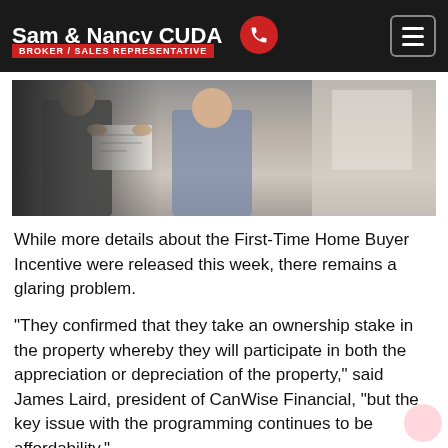Sam & Nancy CUDA
BROKER / SALES REPRESENTATIVE
[Figure (photo): Two people reviewing documents together, one in a suit jacket and one in casual clothing, standing near a window.]
While more details about the First-Time Home Buyer Incentive were released this week, there remains a glaring problem.
“They confirmed that they take an ownership stake in the property whereby they will participate in both the appreciation or depreciation of the property,” said James Laird, president of CanWise Financial, “but the key issue with the programming continues to be affordability.”
Buyers who use the program only qualify for four times their household income whereas non-participants qualify for 4.5 times their household income. In effect,